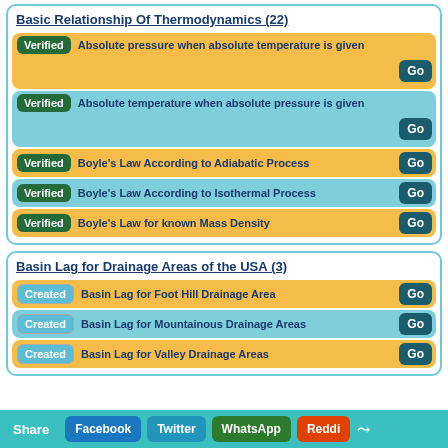Basic Relationship Of Thermodynamics (22)
Verified  Absolute pressure when absolute temperature is given  Go
Verified  Absolute temperature when absolute pressure is given  Go
Verified  Boyle's Law According to Adiabatic Process  Go
Verified  Boyle's Law According to Isothermal Process  Go
Verified  Boyle's Law for known Mass Density  Go
Basin Lag for Drainage Areas of the USA (3)
Created  Basin Lag for Foot Hill Drainage Area  Go
Created  Basin Lag for Mountainous Drainage Areas  Go
Created  Basin Lag for Valley Drainage Areas  Go
Share  Facebook  Twitter  WhatsApp  Reddit